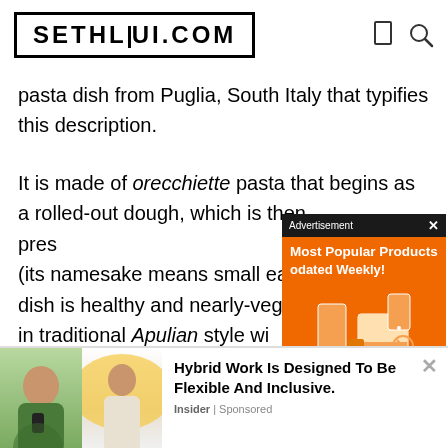SETHLUI.COM
pasta dish from Puglia, South Italy that typifies this description.
It is made of orecchiette pasta that begins as a rolled-out dough, which is then pres... (its namesake means small ea... dish is healthy and nearly-veg... in traditional Apulian style wi... turnip greens), olive oil and c... turnip greens are usually slightly bitter complements further the taste of the pasta and its anchovies. I am
[Figure (screenshot): Advertisement overlay showing 'Most Popular Products Updated Weekly!' on orange background with product illustrations]
[Figure (photo): Bottom advertisement banner with two people and text 'Hybrid Work Is Designed To Be Flexible And Inclusive.' from Insider | Sponsored]